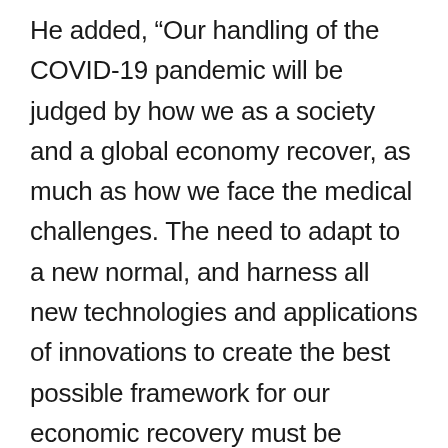He added, “Our handling of the COVID-19 pandemic will be judged by how we as a society and a global economy recover, as much as how we face the medical challenges. The need to adapt to a new normal, and harness all new technologies and applications of innovations to create the best possible framework for our economic recovery must be addressed now. This is why I have come from Jerusalem to SoHo, together with leading CEOs from our technology companies, to work with our team on the ground, together with our partners in the NYCEDC, to explore and examine the best